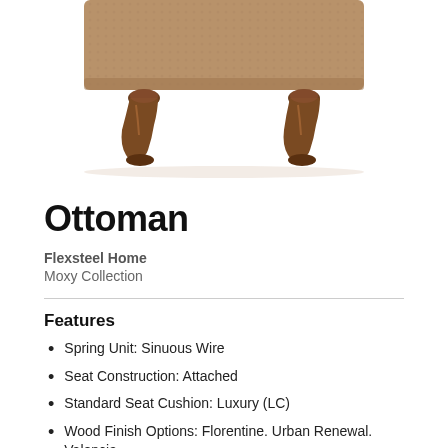[Figure (photo): Bottom portion of an ottoman with brown textured fabric top and four dark brown turned wooden legs visible against a white background]
Ottoman
Flexsteel Home
Moxy Collection
Features
Spring Unit: Sinuous Wire
Seat Construction: Attached
Standard Seat Cushion: Luxury (LC)
Wood Finish Options: Florentine. Urban Renewal. Valencia